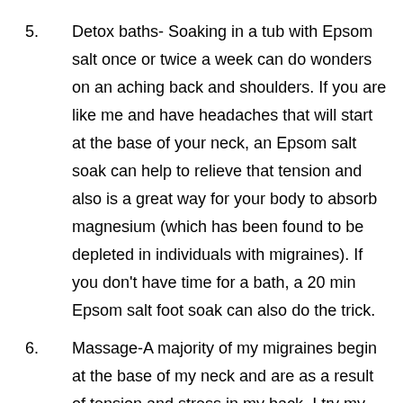5. Detox baths- Soaking in a tub with Epsom salt once or twice a week can do wonders on an aching back and shoulders. If you are like me and have headaches that will start at the base of your neck, an Epsom salt soak can help to relieve that tension and also is a great way for your body to absorb magnesium (which has been found to be depleted in individuals with migraines). If you don't have time for a bath, a 20 min Epsom salt foot soak can also do the trick.
6. Massage-A majority of my migraines begin at the base of my neck and are as a result of tension and stress in my back. I try my best to stretch daily, but lugging around a 20+ lbs. toddler its hard not to have some tension. So that is why I will treat myself to a 30 minute massage every few weeks that focuses specifically on my upper back and neck. If you can't afford a massage, no worries, you can easily purchase a foam roller and